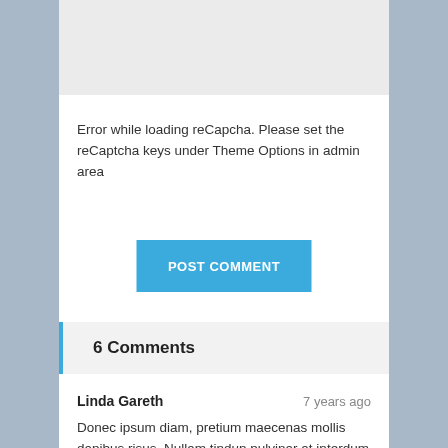[Figure (other): Gray recaptcha placeholder box]
Error while loading reCapcha. Please set the reCaptcha keys under Theme Options in admin area
POST COMMENT
6 Comments
Linda Gareth
7 years ago
Donec ipsum diam, pretium maecenas mollis dapibus risus. Nullam tindun pulvinar at interdum eget, suscipit eget felis. Pellentesque